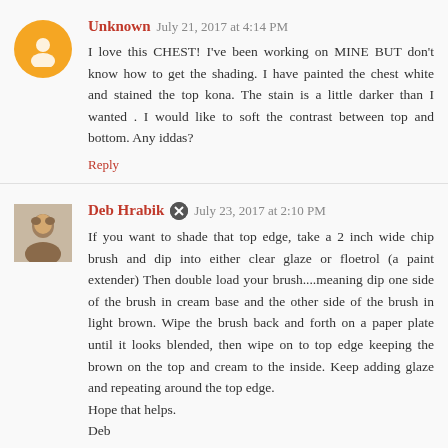Unknown  July 21, 2017 at 4:14 PM
I love this CHEST! I've been working on MINE BUT don't know how to get the shading. I have painted the chest white and stained the top kona. The stain is a little darker than I wanted . I would like to soft the contrast between top and bottom. Any iddas?
Reply
Deb Hrabik  July 23, 2017 at 2:10 PM
If you want to shade that top edge, take a 2 inch wide chip brush and dip into either clear glaze or floetrol (a paint extender) Then double load your brush....meaning dip one side of the brush in cream base and the other side of the brush in light brown. Wipe the brush back and forth on a paper plate until it looks blended, then wipe on to top edge keeping the brown on the top and cream to the inside. Keep adding glaze and repeating around the top edge.
Hope that helps.
Deb